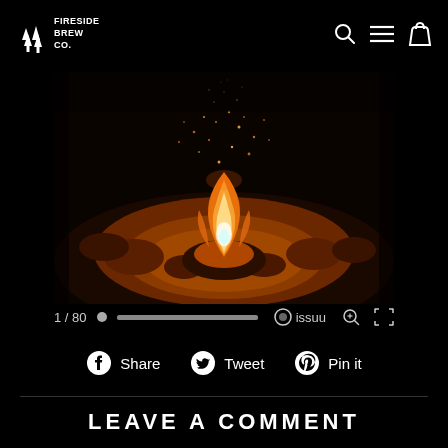FIRESIDE BREW CO.
[Figure (photo): A campfire burning on a sandy beach at night, with orange sparks flying upward against a dark background. The fire is surrounded by rocks and sand lit in warm amber tones.]
1 / 80
issuu
Share
Tweet
Pin it
LEAVE A COMMENT